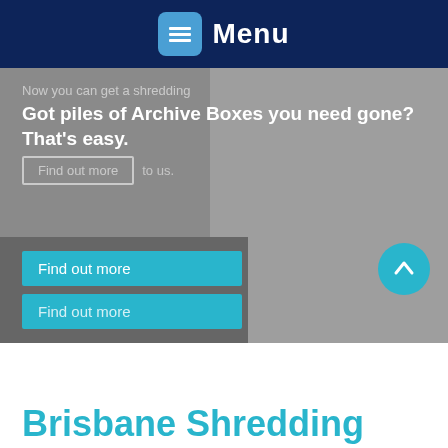Menu
[Figure (screenshot): Website banner showing overlapping slides. Text reads: 'Now you can get a shredding quote online. It's so easy.' overlaid with bold text 'Got piles of Archive Boxes you need gone? That's easy.' with 'Find out more' buttons in teal and ghost style.]
Brisbane Shredding